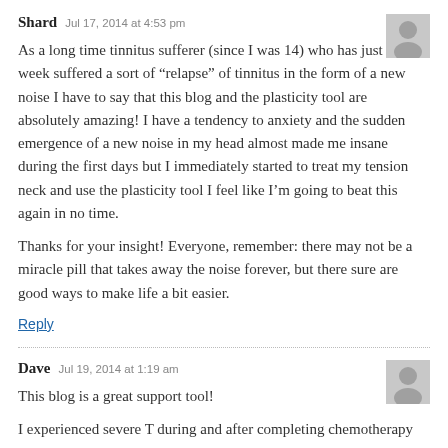Shard   Jul 17, 2014 at 4:53 pm
As a long time tinnitus sufferer (since I was 14) who has just this week suffered a sort of “relapse” of tinnitus in the form of a new noise I have to say that this blog and the plasticity tool are absolutely amazing! I have a tendency to anxiety and the sudden emergence of a new noise in my head almost made me insane during the first days but I immediately started to treat my tension neck and use the plasticity tool I feel like I’m going to beat this again in no time.

Thanks for your insight! Everyone, remember: there may not be a miracle pill that takes away the noise forever, but there sure are good ways to make life a bit easier.
Reply
Dave   Jul 19, 2014 at 1:19 am
This blog is a great support tool!
I experienced severe T during and after completing chemotherapy